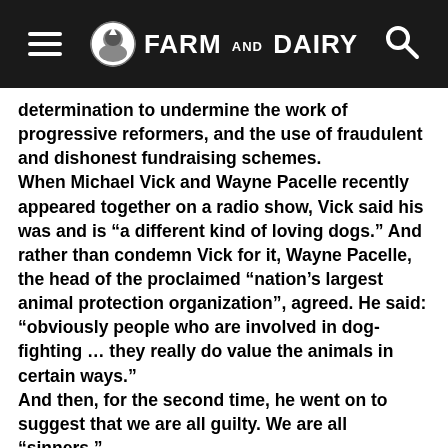Farm and Dairy
determination to undermine the work of progressive reformers, and the use of fraudulent and dishonest fundraising schemes. When Michael Vick and Wayne Pacelle recently appeared together on a radio show, Vick said his was and is “a different kind of loving dogs.” And rather than condemn Vick for it, Wayne Pacelle, the head of the proclaimed “nation’s largest animal protection organization”, agreed. He said: “obviously people who are involved in dog-fighting … they really do value the animals in certain ways.” And then, for the second time, he went on to suggest that we are all guilty. We are all “sinners.” Michael Vick continues to avoid any responsibility for his crimes by claiming shooting dogs, drowning dogs, hanging dogs alive, electrocuting dogs, beating dogs to death and watching them tear each other to shreds is his way of expressing a “different kind” of love. And Wayne Pacelle has publicly stated